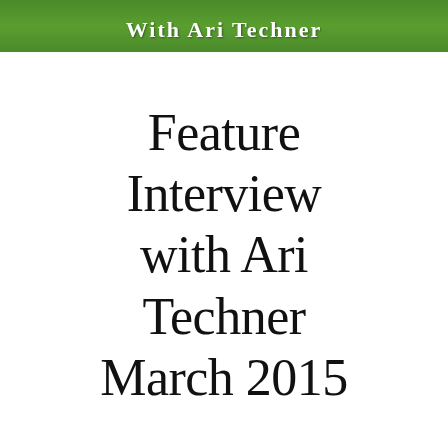With Ari Techner
Feature Interview with Ari Techner March 2015